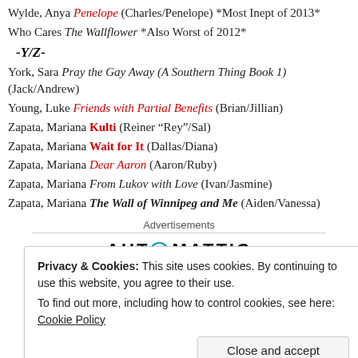Wylde, Anya Penelope (Charles/Penelope) *Most Inept of 2013*
Who Cares The Wallflower *Also Worst of 2012*
-Y/Z-
York, Sara Pray the Gay Away (A Southern Thing Book 1) (Jack/Andrew)
Young, Luke Friends with Partial Benefits (Brian/Jillian)
Zapata, Mariana Kulti (Reiner “Rey”/Sal)
Zapata, Mariana Wait for It (Dallas/Diana)
Zapata, Mariana Dear Aaron (Aaron/Ruby)
Zapata, Mariana From Lukov with Love (Ivan/Jasmine)
Zapata, Mariana The Wall of Winnipeg and Me (Aiden/Vanessa)
Advertisements
[Figure (logo): Automattic logo text]
Privacy & Cookies: This site uses cookies. By continuing to use this website, you agree to their use. To find out more, including how to control cookies, see here: Cookie Policy